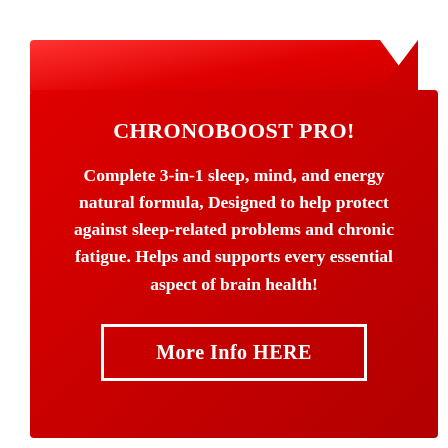[Figure (infographic): Red promotional banner with folded top-right corner effect for ChronoBoost Pro supplement]
CHRONOBOOST PRO!
Complete 3-in-1 sleep, mind, and energy natural formula, Designed to help protect against sleep-related problems and chronic fatigue. Helps and supports every essential aspect of brain health!
More Info HERE